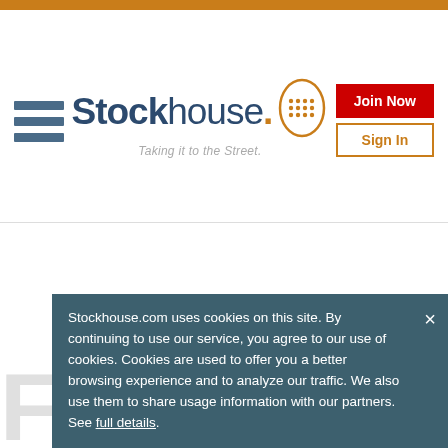[Figure (logo): Stockhouse logo with head icon and tagline 'Taking it to the Street.']
[Figure (other): Hamburger menu icon (three horizontal bars)]
[Figure (other): Join Now button (red) and Sign In button (orange outline)]
Stockhouse.com uses cookies on this site. By continuing to use our service, you agree to our use of cookies. Cookies are used to offer you a better browsing experience and to analyze our traffic. We also use them to share usage information with our partners. See full details.